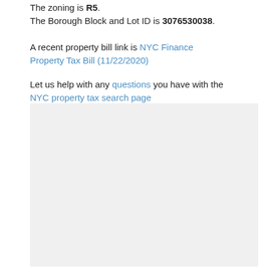The zoning is R5. The Borough Block and Lot ID is 3076530038.
A recent property bill link is NYC Finance Property Tax Bill (11/22/2020)
Let us help with any questions you have with the NYC property tax search page
[Figure (other): Light gray rectangular box filling the lower portion of the page]